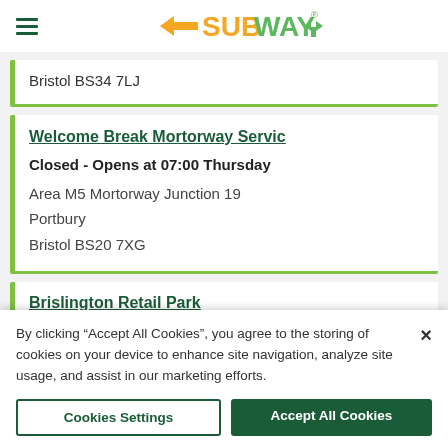SUBWAY
Bristol BS34 7LJ
Welcome Break Mortorway Servic
Closed - Opens at 07:00 Thursday
Area M5 Mortorway Junction 19
Portbury
Bristol BS20 7XG
Brislington Retail Park
By clicking “Accept All Cookies”, you agree to the storing of cookies on your device to enhance site navigation, analyze site usage, and assist in our marketing efforts.
Cookies Settings | Accept All Cookies